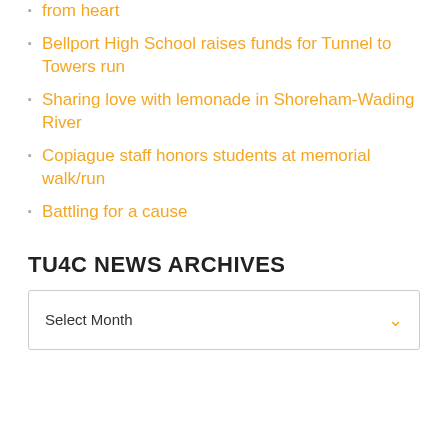from heart
Bellport High School raises funds for Tunnel to Towers run
Sharing love with lemonade in Shoreham-Wading River
Copiague staff honors students at memorial walk/run
Battling for a cause
TU4C NEWS ARCHIVES
Select Month